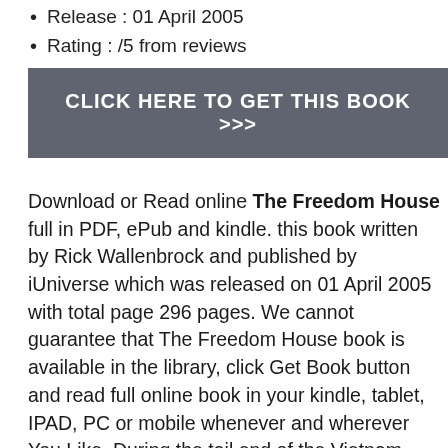Release : 01 April 2005
Rating : /5 from reviews
CLICK HERE TO GET THIS BOOK >>>
Download or Read online The Freedom House full in PDF, ePub and kindle. this book written by Rick Wallenbrock and published by iUniverse which was released on 01 April 2005 with total page 296 pages. We cannot guarantee that The Freedom House book is available in the library, click Get Book button and read full online book in your kindle, tablet, IPAD, PC or mobile whenever and wherever You Like. During the tail end of the Vietnam War, the US Army Europe, faced with a large drug problem among soldiers